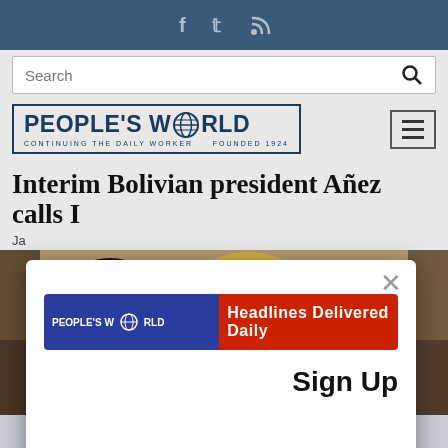Social icons: Facebook, Twitter, RSS
Search
[Figure (logo): People's World logo — CONTINUING THE DAILY WORKER — FOUNDED 1924]
Interim Bolivian president Añez calls I...
Ja...
[Figure (photo): Two people, a young man and a blond woman holding a purple folder/book]
[Figure (infographic): Modal popup: People's World Headlines Delivered Daily banner with Sign Up button and close X]